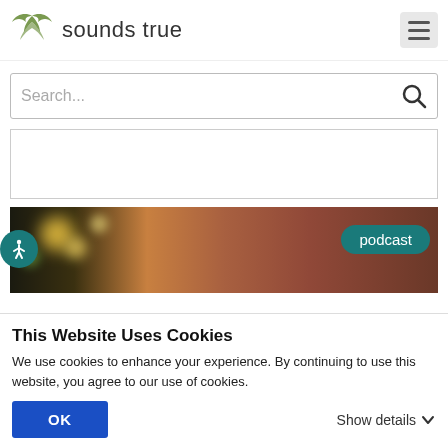[Figure (logo): Sounds True logo with green wing icon and text 'sounds true']
[Figure (screenshot): Search bar with placeholder text 'Search...' and magnifying glass icon]
[Figure (photo): Podcast thumbnail image showing a blurred bokeh background with a person, with a teal 'podcast' badge in the corner]
This Website Uses Cookies
We use cookies to enhance your experience. By continuing to use this website, you agree to our use of cookies.
OK
Show details